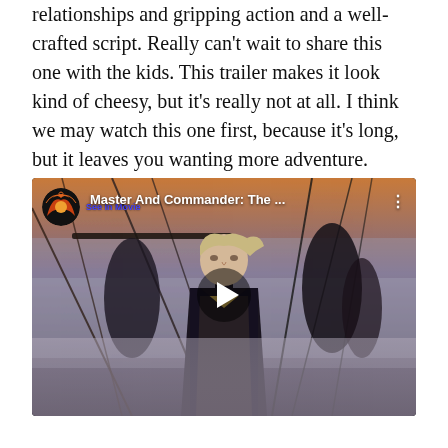relationships and gripping action and a well-crafted script. Really can't wait to share this one with the kids. This trailer makes it look kind of cheesy, but it's really not at all. I think we may watch this one first, because it's long, but it leaves you wanting more adventure.
[Figure (screenshot): YouTube video embed showing 'Master And Commander: The ...' with a play button overlay. The video thumbnail shows a man in 18th-century naval uniform standing on a ship deck amid fog. Channel avatar is visible in top left with channel name in blue.]